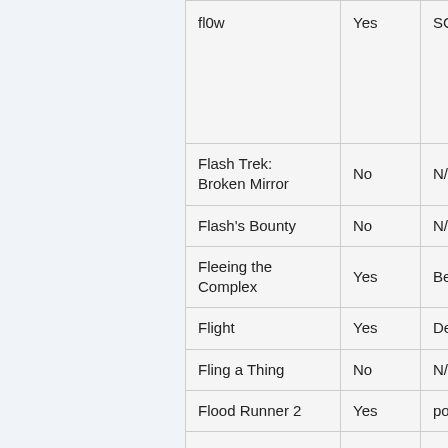| Game | Beaten? | Top Player |
| --- | --- | --- |
| fl0w | Yes | SCZther |
| Flash Trek: Broken Mirror | No | N/A |
| Flash's Bounty | No | N/A |
| Fleeing the Complex | Yes | Been |
| Flight | Yes | DemonWing90 |
| Fling a Thing | No | N/A |
| Flood Runner 2 | Yes | popcar2 |
| ... | ... | ... |